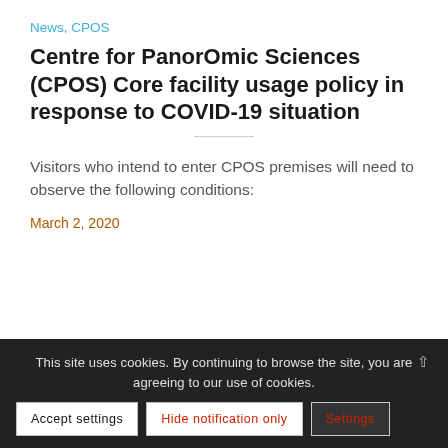News, CPOS
Centre for PanorOmic Sciences (CPOS) Core facility usage policy in response to COVID-19 situation
Visitors who intend to enter CPOS premises will need to observe the following conditions:
March 2, 2020
This site uses cookies. By continuing to browse the site, you are agreeing to our use of cookies.
Accept settings
Hide notification only
Settings